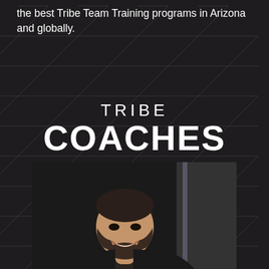the best Tribe Team Training programs in Arizona and globally.
TRIBE
COACHES
[Figure (photo): Portrait photo of a young man with dark hair and beard, smiling, photographed indoors with dark background]